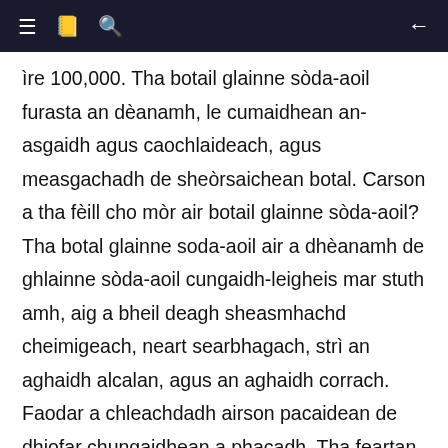≡  📖  🔍  ←
ìre 100,000. Tha botail glainne sòda-aoil furasta an dèanamh, le cumaidhean an-asgaidh agus caochlaideach, agus measgachadh de sheòrsaichean botal. Carson a tha fèill cho mòr air botail glainne sòda-aoil? Tha botal glainne soda-aoil air a dhèanamh de ghlainne sòda-aoil cungaidh-leigheis mar stuth amh, aig a bheil deagh sheasmhachd cheimigeach, neart searbhagach, strì an aghaidh alcalan, agus an aghaidh corrach. Faodar a chleachdadh airson pacaidean de dhiofar chungaidhean a phacadh. Tha feartan meacanaigeach seasmhach aig a 'bhotal glainne aoil soda. Is urrainn dha seasamh ris a 'chuideam anns a' bhotal aig àm còmhdhail agus an fheachd a-muigh aig àm còmhdhail a-muigh. Tha e air adhartas mòr a dhèanamh ann an anti-shatter. Tha comasan eadar-